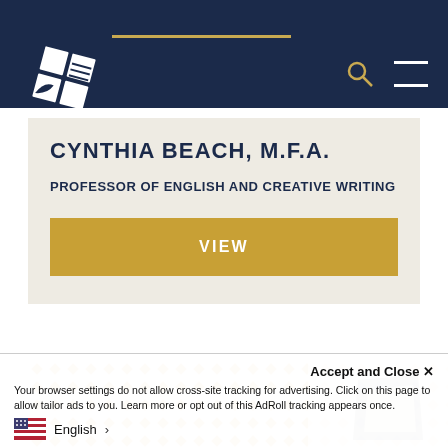Navigation header with logo, search, and menu icons
CYNTHIA BEACH, M.F.A.
PROFESSOR OF ENGLISH AND CREATIVE WRITING
VIEW
[Figure (illustration): Decorative diamond dot pattern in gold/tan colors at bottom of page]
Accept and Close ✕
Your browser settings do not allow cross-site tracking for advertising. Click on this page to allow tailor ads to you. Learn more or opt out of this AdRoll tracking appears once.
English >